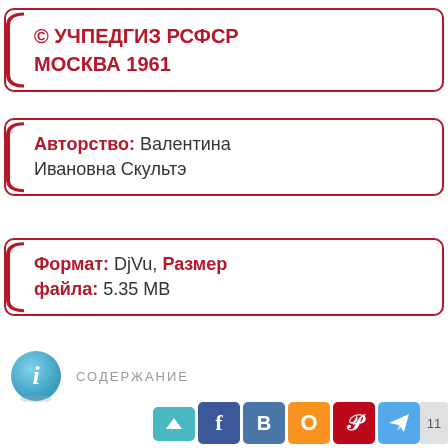© УЧПЕДГИЗ РСФСР МОСКВА 1961
Авторство: Валентина Ивановна Скультэ
Формат: DjVu, Размер файла: 5.35 MB
СОДЕРЖАНИЕ
[Figure (other): Social media share buttons: Facebook, VK, OK, Pinterest, Telegram; scroll-up button; page number 11]